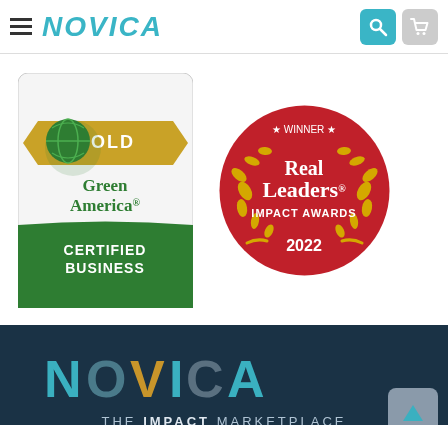NOVICA header navigation bar
[Figure (logo): Green America Gold Certified Business badge - square badge with globe icon, gold banner reading GOLD, Green America text, green background with CERTIFIED BUSINESS text]
[Figure (logo): Real Leaders Impact Awards 2022 Winner - red circular badge with gold laurel wreath, white text reading WINNER, Real Leaders IMPACT AWARDS, 2022]
[Figure (logo): NOVICA THE IMPACT MARKETPLACE logo on dark navy background - colorful NOVICA text with teal, gold, slate blue colors, white subtitle text]
THE IMPACT MARKETPLACE